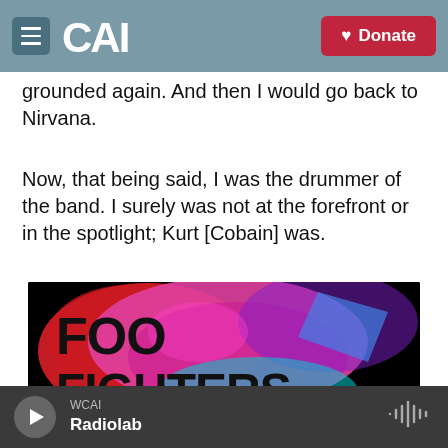CAI | Donate
grounded again. And then I would go back to Nirvana.
Now, that being said, I was the drummer of the band. I surely was not at the forefront or in the spotlight; Kurt [Cobain] was.
[Figure (photo): Foo Fighters promotional image with psychedelic pink, red and cyan colors showing 'FOO FIGHTERS' text in bold black letters on a colorful abstract background]
WCAI Radiolab